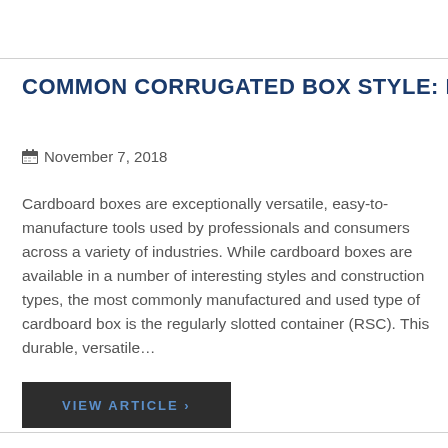COMMON CORRUGATED BOX STYLE: RSC
November 7, 2018
Cardboard boxes are exceptionally versatile, easy-to-manufacture tools used by professionals and consumers across a variety of industries. While cardboard boxes are available in a number of interesting styles and construction types, the most commonly manufactured and used type of cardboard box is the regularly slotted container (RSC). This durable, versatile...
VIEW ARTICLE  ›